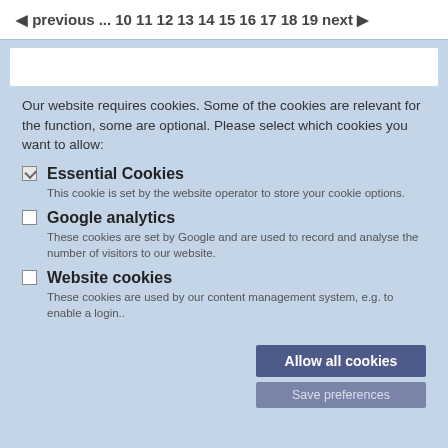◀ previous... 10 11 12 13 14 15 16 17 18 19 next ▶
Our website requires cookies. Some of the cookies are relevant for the function, some are optional. Please select which cookies you want to allow:
Essential Cookies — This cookie is set by the website operator to store your cookie options.
Google analytics — These cookies are set by Google and are used to record and analyse the number of visitors to our website.
Website cookies — These cookies are used by our content management system, e.g. to enable a login..